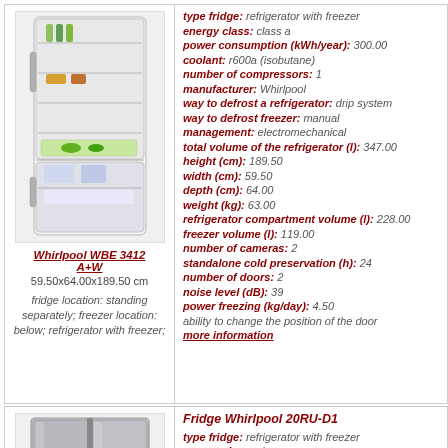[Figure (photo): White refrigerator with freezer, Whirlpool WBE 3412 A+W]
Whirlpool WBE 3412 A+W
59.50x64.00x189.50 cm
fridge location: standing separately; freezer location: below; refrigerator with freezer;
type fridge: refrigerator with freezer
energy class: class a
power consumption (kWh/year): 300.00
coolant: r600a (isobutane)
number of compressors: 1
manufacturer: Whirlpool
way to defrost a refrigerator: drip system
way to defrost freezer: manual
management: electromechanical
total volume of the refrigerator (l): 347.00
height (cm): 189.50
width (cm): 59.50
depth (cm): 64.00
weight (kg): 63.00
refrigerator compartment volume (l): 228.00
freezer volume (l): 119.00
number of cameras: 2
standalone cold preservation (h): 24
number of doors: 2
noise level (dB): 39
power freezing (kg/day): 4.50
ability to change the position of the door
more information
[Figure (photo): Silver/stainless side-by-side refrigerator, Whirlpool 20RU-D1]
Fridge Whirlpool 20RU-D1
type fridge: refrigerator with freezer
energy class: class a
power consumption (kWh/year): 0.00
number of compressors: 1
manufacturer: Whirlpool
way to defrost a refrigerator: no frost
way to defrost freezer: no frost